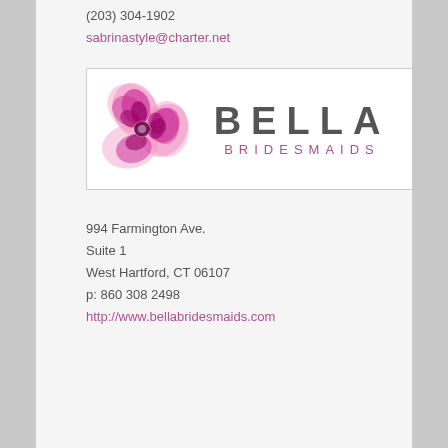(203) 304-1902
sabrinastyle@charter.net
[Figure (logo): Bella Bridesmaids logo with pink floral swirl design on left and 'BELLA BRIDESMAIDS' text on right]
994 Farmington Ave.
Suite 1
West Hartford, CT 06107
p: 860 308 2498
http://www.bellabridesmaids.com